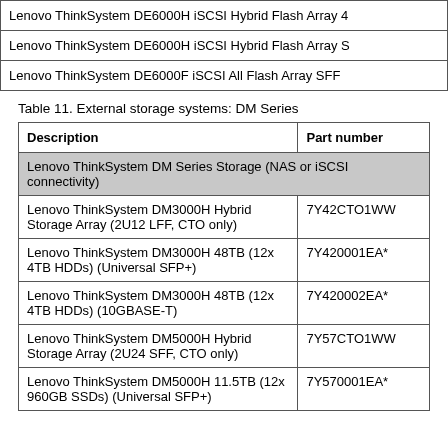| Lenovo ThinkSystem DE6000H iSCSI Hybrid Flash Array 4 |
| Lenovo ThinkSystem DE6000H iSCSI Hybrid Flash Array S |
| Lenovo ThinkSystem DE6000F iSCSI All Flash Array SFF |
Table 11. External storage systems: DM Series
| Description | Part number |
| --- | --- |
| Lenovo ThinkSystem DM Series Storage (NAS or iSCSI connectivity) |  |
| Lenovo ThinkSystem DM3000H Hybrid Storage Array (2U12 LFF, CTO only) | 7Y42CTO1WW |
| Lenovo ThinkSystem DM3000H 48TB (12x 4TB HDDs) (Universal SFP+) | 7Y420001EA* |
| Lenovo ThinkSystem DM3000H 48TB (12x 4TB HDDs) (10GBASE-T) | 7Y420002EA* |
| Lenovo ThinkSystem DM5000H Hybrid Storage Array (2U24 SFF, CTO only) | 7Y57CTO1WW |
| Lenovo ThinkSystem DM5000H 11.5TB (12x 960GB SSDs) (Universal SFP+) | 7Y570001EA* |